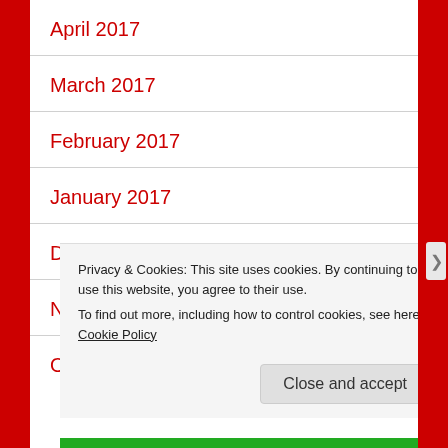April 2017
March 2017
February 2017
January 2017
December 2016
November 2016
October 2016
Privacy & Cookies: This site uses cookies. By continuing to use this website, you agree to their use.
To find out more, including how to control cookies, see here: Cookie Policy
Close and accept